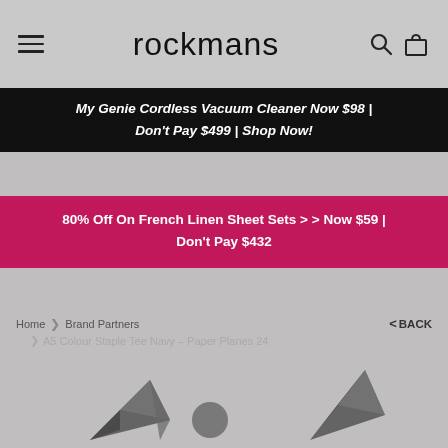rockmans
My Genie Cordless Vacuum Cleaner Now $98 | Don't Pay $499 | Shop Now!
80% Off On French Linen Sheet Sets >> Now $59 | Don't Pay $432
Home > Brand Partners > A5 Colour Staple Tee Navy - Paper Planes 24
[Figure (photo): Paper Planes brand logo / graphic design elements partially visible at the bottom of the page, showing geometric paper airplane shapes in dark/grey tones on a grey background]